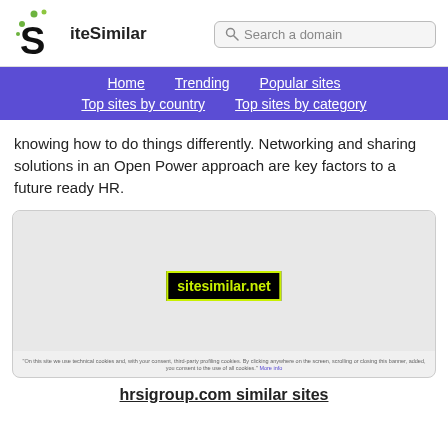SiteSimilar | Search a domain
Home | Trending | Popular sites | Top sites by country | Top sites by category
knowing how to do things differently. Networking and sharing solutions in an Open Power approach are key factors to a future ready HR.
[Figure (screenshot): Screenshot of website showing sitesimilar.net watermark on a white/grey background with cookie notice at bottom]
hrsigroup.com similar sites